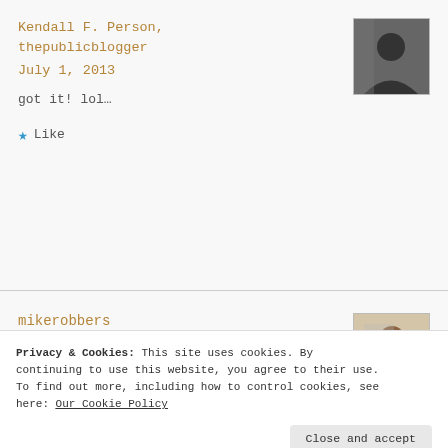Kendall F. Person, thepublicblogger
July 1, 2013
got it! lol…
★ Like
mikerobbers
Privacy & Cookies: This site uses cookies. By continuing to use this website, you agree to their use. To find out more, including how to control cookies, see here: Our Cookie Policy
Close and accept